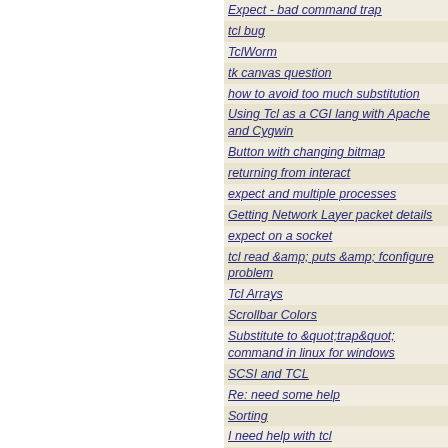Expect - bad command trap
tcl bug
TclWorm
tk canvas question
how to avoid too much substitution
Using Tcl as a CGI lang with Apache and Cygwin
Button with changing bitmap
returning from interact
expect and multiple processes
Getting Network Layer packet details
expect on a socket
tcl read &amp; puts &amp; fconfigure problem
Tcl Arrays
Scrollbar Colors
Substitute to &quot;trap&quot; command in linux for windows
SCSI and TCL
Re: need some help
Sorting
I need help with tcl
GUI problem